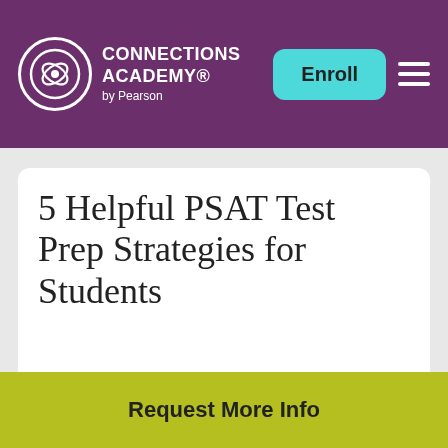CONNECTIONS ACADEMY by Pearson | Enroll
5 Helpful PSAT Test Prep Strategies for Students
LEARNING SUPPORT
RESOURCE LISTS
FEATURED
ARTICLES
Request More Info